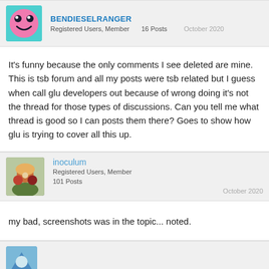BENDIESELRANGER — Registered Users, Member — 16 Posts — October 2020
It's funny because the only comments I see deleted are mine. This is tsb forum and all my posts were tsb related but I guess when call glu developers out because of wrong doing it's not the thread for those types of discussions. Can you tell me what thread is good so I can posts them there? Goes to show how glu is trying to cover all this up.
inoculum — Registered Users, Member — 101 Posts — October 2020
my bad, screenshots was in the topic... noted.